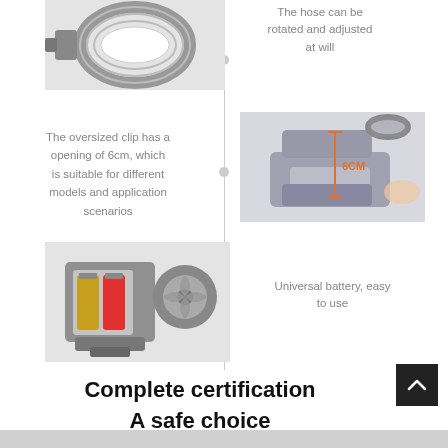[Figure (photo): Gray flexible hose/duct attached to a clip fan, showing rotatable hose connection]
The hose can be rotated and adjusted at will
The oversized clip has a opening of 6cm, which is suitable for different models and application scenarios
[Figure (photo): Gray clip clamp shown open with orange measurement line indicating 6CM opening width]
[Figure (photo): Gray clip fan with battery compartment open showing two AA batteries inserted]
Universal battery, easy to use
Complete certification
A safe choice